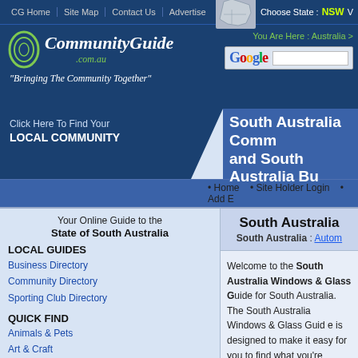CG Home | Site Map | Contact Us | Advertise
[Figure (logo): CommunityGuide.com.au logo with tagline Bringing The Community Together]
[Figure (map): Map of Australia with state selector showing NSW]
Choose State : NSW
You Are Here : Australia >
[Figure (logo): Google search bar]
Click Here To Find Your LOCAL COMMUNITY
South Australia Community and South Australia Business
• Home • Site Holder Login • Add B
Your Online Guide to the State of South Australia
LOCAL GUIDES
Business Directory
Community Directory
Sporting Club Directory
QUICK FIND
Animals & Pets
Art & Craft
Automotive & Mechanical
Building & Construction
Clothing & Fashion
Community Groups
Computers & Electrical
Entertainment & Leisure
Food & Liquor
Hair & Beauty
Health & Fitness
South Australia
South Australia : Autom
Welcome to the South Australia Windows & Glass Guide for South Australia. The South Australia Windows & Glass Guide is designed to make it easy for you to find what you're looking for.